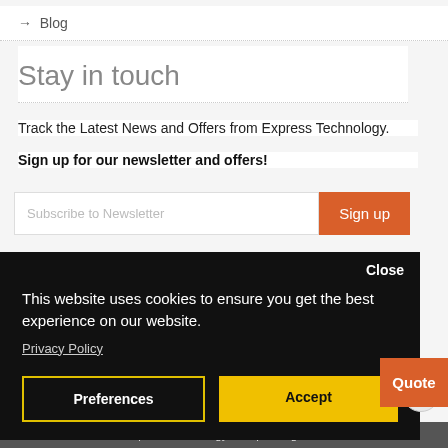→ Blog
Stay in touch
Track the Latest News and Offers from Express Technology.
Sign up for our newsletter and offers!
Subscribe to Newsletter  Sign up
Close
This website uses cookies to ensure you get the best experience on our website.
Privacy Policy
Preferences
Accept
Quote
© 2022 Express Technology Group. All rights reserved.